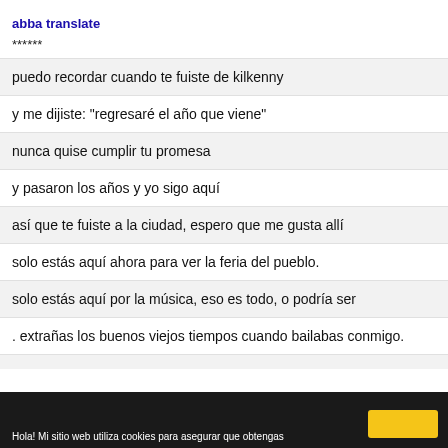abba translate
******
puedo recordar cuando te fuiste de kilkenny
y me dijiste: "regresaré el año que viene"
nunca quise cumplir tu promesa
y pasaron los años y yo sigo aquí
así que te fuiste a la ciudad, espero que me gusta allí
solo estás aquí ahora para ver la feria del pueblo.
solo estás aquí por la música, eso es todo, o podría ser
. extrañas los buenos viejos tiempos cuando bailabas conmigo.
Hola! Mi sitio web utiliza cookies para asegurar que obtengas